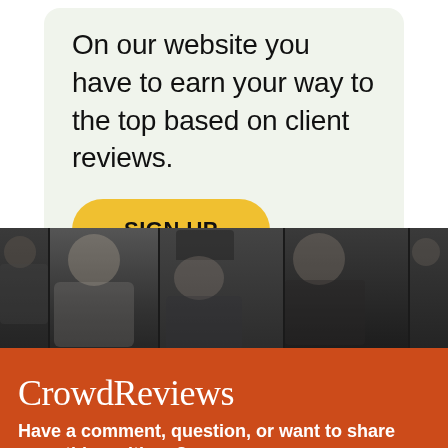On our website you have to earn your way to the top based on client reviews.
SIGN UP
[Figure (photo): A dark, grayscale photo strip showing multiple people (smiling young man, person in dark hat, young man looking down) arranged in vertical panels]
CrowdReviews
Have a comment, question, or want to share something with us?